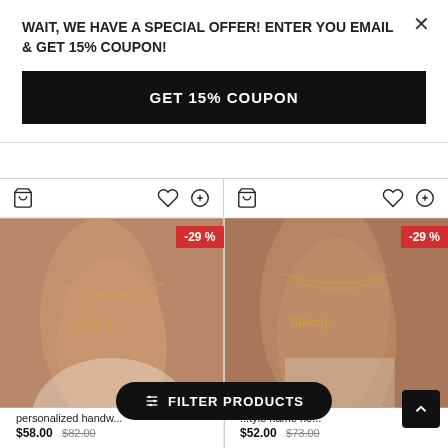WAIT, WE HAVE A SPECIAL OFFER! ENTER YOU EMAIL & GET 15% COUPON!
GET 15% COUPON
[Figure (photo): Close-up of person wearing a gold personalized name necklace with cursive script, -29% discount badge]
[Figure (photo): Close-up of person wearing a gold Blakely style name necklace, -29% discount badge]
personalized handw...
$58.00  $82.00
...tyle name ne...
$52.00  $73.00
FILTER PRODUCTS